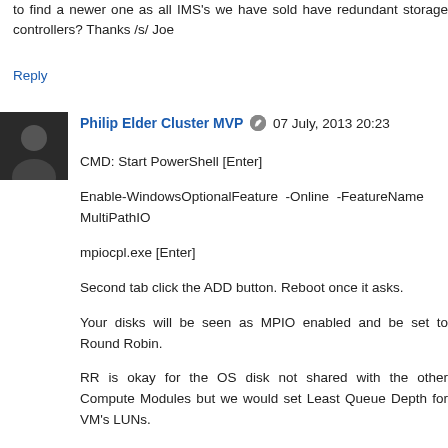to find a newer one as all IMS's we have sold have redundant storage controllers? Thanks /s/ Joe
Reply
Philip Elder Cluster MVP  07 July, 2013 20:23
CMD: Start PowerShell [Enter]
Enable-WindowsOptionalFeature -Online -FeatureName MultiPathIO
mpiocpl.exe [Enter]
Second tab click the ADD button. Reboot once it asks.
Your disks will be seen as MPIO enabled and be set to Round Robin.
RR is okay for the OS disk not shared with the other Compute Modules but we would set Least Queue Depth for VM's LUNs.